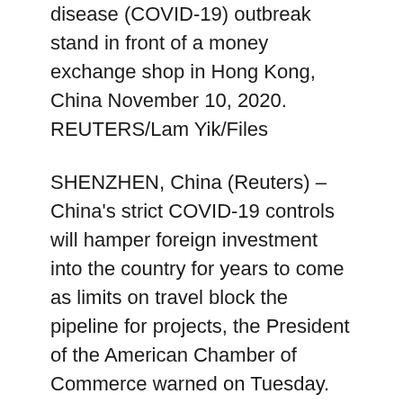disease (COVID-19) outbreak stand in front of a money exchange shop in Hong Kong, China November 10, 2020. REUTERS/Lam Yik/Files
SHENZHEN, China (Reuters) – China's strict COVID-19 controls will hamper foreign investment into the country for years to come as limits on travel block the pipeline for projects, the President of the American Chamber of Commerce warned on Tuesday.
There are few signs that American companies are leaving the China market, but the years-long process of research and due diligence for projects has been delayed, Michael Hart said at an event launching the chamber's annual report.
“We’re very concerned about the ongoing and future